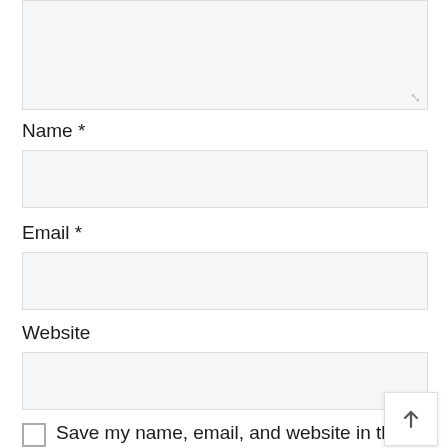[textarea/comment box — top, partially visible]
Name *
[Name input field]
Email *
[Email input field]
Website
[Website input field]
Save my name, email, and website in this browser for the next time I comment.